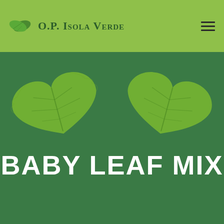O.P. Isola Verde
[Figure (logo): O.P. Isola Verde logo with two overlapping leaf icons and company name in green header bar]
[Figure (illustration): Two arugula/baby leaf greens placed symmetrically on a dark green background, mirrored left and right]
BABY LEAF MIX